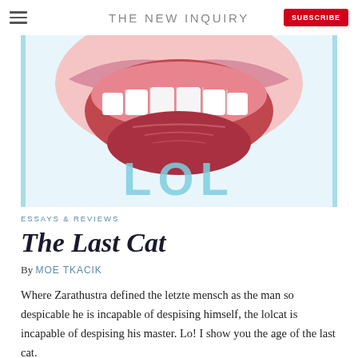THE NEW INQUIRY
[Figure (illustration): Illustration of an open mouth with teeth and pink interior, with the text 'LOL' in large light blue letters below. The image has a light blue border frame. This appears to be the article hero image.]
ESSAYS & REVIEWS
The Last Cat
By MOE TKACIK
Where Zarathustra defined the letzte mensch as the man so despicable he is incapable of despising himself, the lolcat is incapable of despising his master. Lo! I show you the age of the last cat.